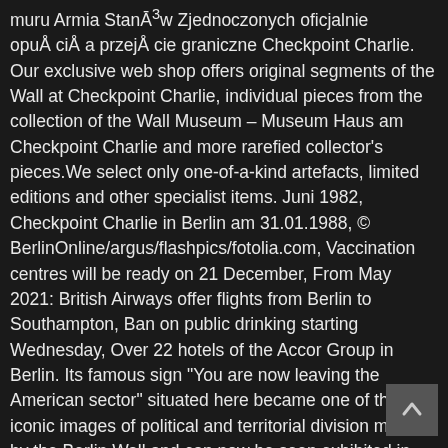muru Armia Stanów Zjednoczonych oficjalnie opuściła przejście graniczne Checkpoint Charlie. Our exclusive web shop offers original segments of the Wall at Checkpoint Charlie, individual pieces from the collection of the Wall Museum – Museum Haus am Checkpoint Charlie and more rarefied collector's pieces.We select only one-of-a-kind artefacts, limited editions and other specialist items. Juni 1982, Checkpoint Charlie in Berlin am 31.01.1988, © BerlinOnline/argus/flashpics/fotolia.com, Vaccination centres will be ready on 21 December, From May 2021: British Airways offer flights from Berlin to Southampton, Ban on public drinking starting Wednesday, Over 22 hotels of the Accor Group in Berlin. Its famous sign "You are now leaving the American sector" situated here became one of the iconic images of political and territorial division marked by the Berlin Wall and can now be seen exhibited in the museum. Czterogwiazdkowy Mercure Hotel & Residenz Berlin Checkpoint Charlie, w dzielnicy Mitte, przy Schützenstraße 11, w pobliżu